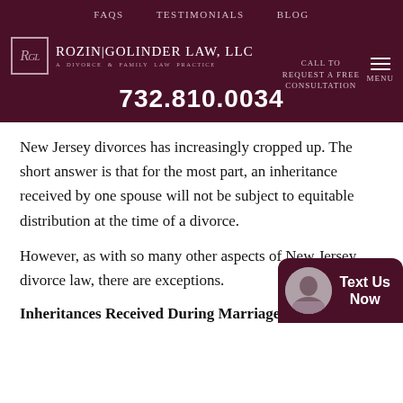FAQs  Testimonials  Blog
[Figure (logo): Rozin Golinder Law, LLC logo with RGL monogram in a bordered box, text reading 'Rozin Golinder Law, LLC — A Divorce & Family Law Practice']
Call to Request a Free Consultation
732.810.0034
New Jersey divorces has increasingly cropped up. The short answer is that for the most part, an inheritance received by one spouse will not be subject to equitable distribution at the time of a divorce.
However, as with so many other aspects of New Jersey divorce law, there are exceptions.
Inheritances Received During Marriage